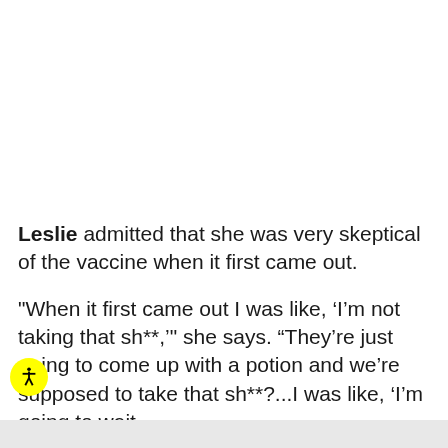Leslie admitted that she was very skeptical of the vaccine when it first came out.
"When it first came out I was like, ‘I’m not taking that sh**,’" she says. “They’re just going to come up with a potion and we’re supposed to take that sh**?...I was like, ‘I’m going to wait